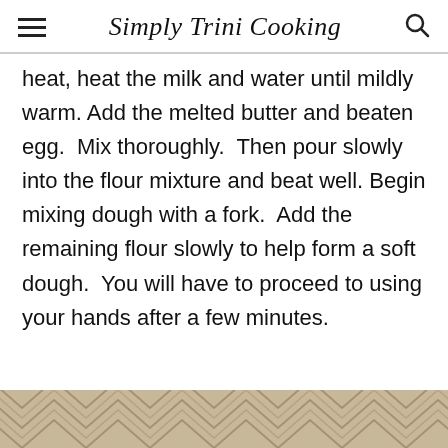Simply Trini Cooking
heat, heat the milk and water until mildly warm. Add the melted butter and beaten egg.  Mix thoroughly.  Then pour slowly into the flour mixture and beat well. Begin mixing dough with a fork.  Add the remaining flour slowly to help form a soft dough.  You will have to proceed to using your hands after a few minutes.
[Figure (photo): Bottom portion showing a textured chevron/zigzag pattern surface, tan/beige colored dough or woven material]